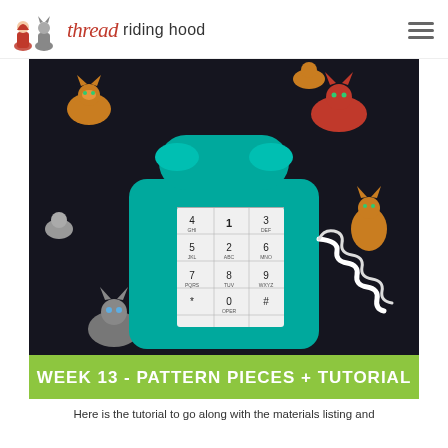thread riding hood
[Figure (photo): A fabric craft project showing a teal/turquoise telephone appliqué on a black fabric decorated with colorful cat prints. The telephone has a handset on top and a keypad panel in the center showing numbers 1-9, *, 0, #, with letter labels (ABC, DEF, GHI, JKL, MNO, PQRS, TUV, WXYZ, OPER). A white coiled cord is attached to the right side. A green banner at the bottom reads: WEEK 13 - PATTERN PIECES + TUTORIAL]
WEEK 13 - PATTERN PIECES + TUTORIAL
Here is the tutorial to go along with the materials listing and